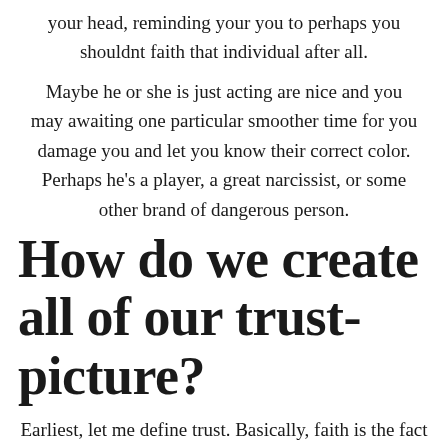your head, reminding your you to perhaps you shouldnt faith that individual after all.
Maybe he or she is just acting are nice and you may awaiting one particular smoother time for you damage you and let you know their correct color. Perhaps he's a player, a great narcissist, or some other brand of dangerous person.
How do we create all of our trust-picture?
Earliest, let me define trust. Basically, faith is the fact sense of believe you have in another individual getting, and therefore perception comes from their faith or advice of these people. After you consider your parents or the best buddy, are you experiencing that it picture of him or her in your thoughts? Might you get this enjoying sense of trust and you can love having the lifetime after you contemplate them? Do you vividly visualize what theyre undertaking right now or actually thinking about in the